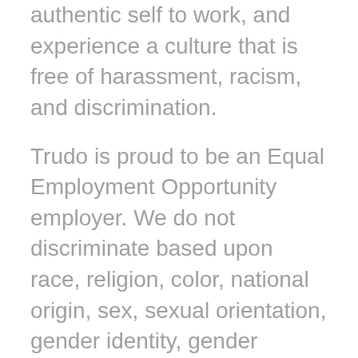authentic self to work, and experience a culture that is free of harassment, racism, and discrimination.
Trudo is proud to be an Equal Employment Opportunity employer. We do not discriminate based upon race, religion, color, national origin, sex, sexual orientation, gender identity, gender expression, age, status as a protected veteran, status as an individual with a disability, genetic information, political views or activity, or other applicable legally protected characteristics.